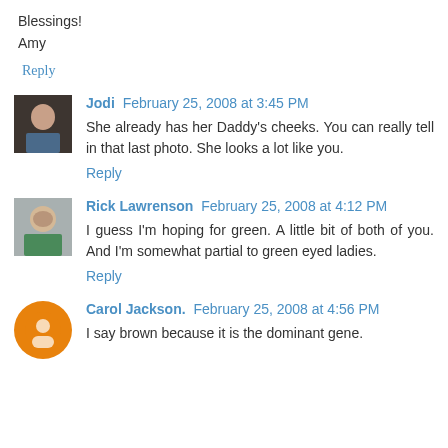Blessings!
Amy
Reply
Jodi February 25, 2008 at 3:45 PM
She already has her Daddy's cheeks. You can really tell in that last photo. She looks a lot like you.
Reply
Rick Lawrenson February 25, 2008 at 4:12 PM
I guess I'm hoping for green. A little bit of both of you. And I'm somewhat partial to green eyed ladies.
Reply
Carol Jackson. February 25, 2008 at 4:56 PM
I say brown because it is the dominant gene.